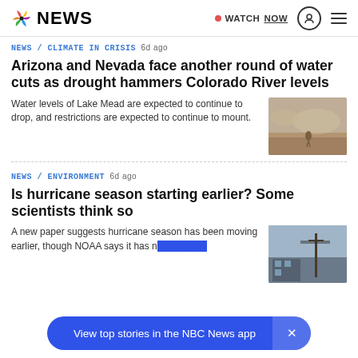NBC NEWS | WATCH NOW
NEWS / CLIMATE IN CRISIS  6d ago
Arizona and Nevada face another round of water cuts as drought hammers Colorado River levels
Water levels of Lake Mead are expected to continue to drop, and restrictions are expected to continue to mount.
[Figure (photo): Arid dry landscape photo, drought conditions]
NEWS / ENVIRONMENT  6d ago
Is hurricane season starting earlier? Some scientists think so
A new paper suggests hurricane season has been moving earlier, though NOAA says it has n...
[Figure (photo): Storm damage photo with utility poles and structures]
View top stories in the NBC News app